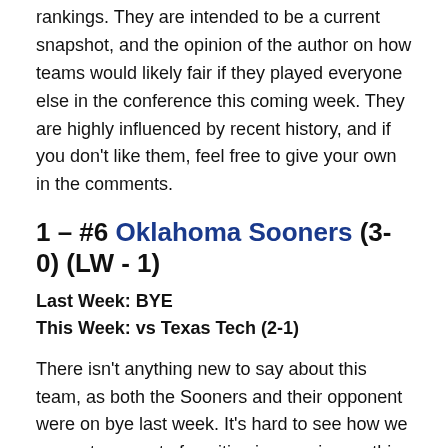rankings. They are intended to be a current snapshot, and the opinion of the author on how teams would likely fair if they played everyone else in the conference this coming week. They are highly influenced by recent history, and if you don't like them, feel free to give your own in the comments.
1 – #6 Oklahoma Sooners (3-0) (LW - 1)
Last Week: BYE
This Week: vs Texas Tech (2-1)
There isn't anything new to say about this team, as both the Sooners and their opponent were on bye last week. It's hard to see how we can get any sort of positive impression on this defense this week, given that Texas Tech is dealing with an injury to starting QB Alan Bowman.